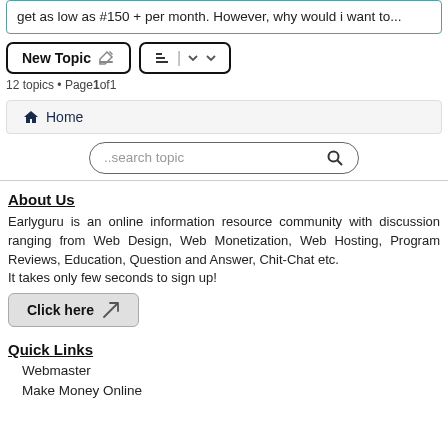get as low as #150 + per month. However, why would I want to...
New Topic  |  sort controls
12 topics • Page 1 of 1
🏠 Home
..search topic
About Us
Earlyguru is an online information resource community with discussion ranging from Web Design, Web Monetization, Web Hosting, Program Reviews, Education, Question and Answer, Chit-Chat etc.
It takes only few seconds to sign up!
Click here
Quick Links
Webmaster
Make Money Online